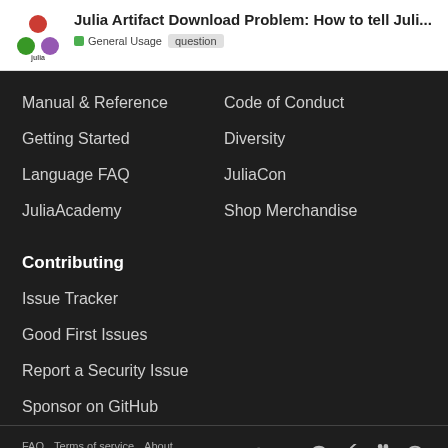Julia Artifact Download Problem: How to tell Juli...
General Usage
question
Manual & Reference
Code of Conduct
Getting Started
Diversity
Language FAQ
JuliaCon
JuliaAcademy
Shop Merchandise
Contributing
Issue Tracker
Good First Issues
Report a Security Issue
Sponsor on GitHub
FAQ  Terms of service  About  Privacy